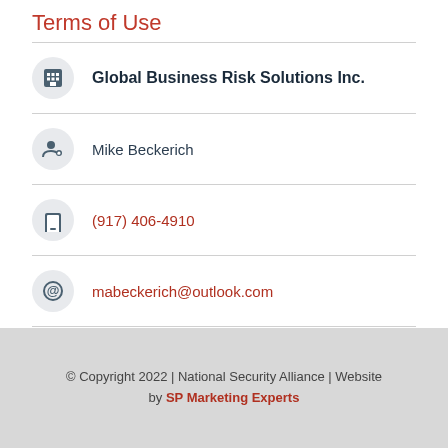Terms of Use
Global Business Risk Solutions Inc.
Mike Beckerich
(917) 406-4910
mabeckerich@outlook.com
© Copyright 2022 | National Security Alliance | Website by SP Marketing Experts